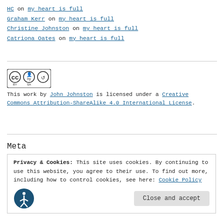HC on my heart is full
Graham Kerr on my heart is full
Christine Johnston on my heart is full
Catriona Oates on my heart is full
[Figure (logo): Creative Commons CC BY SA logo]
This work by John Johnston is licensed under a Creative Commons Attribution-ShareAlike 4.0 International License.
Meta
Privacy & Cookies: This site uses cookies. By continuing to use this website, you agree to their use. To find out more, including how to control cookies, see here: Cookie Policy